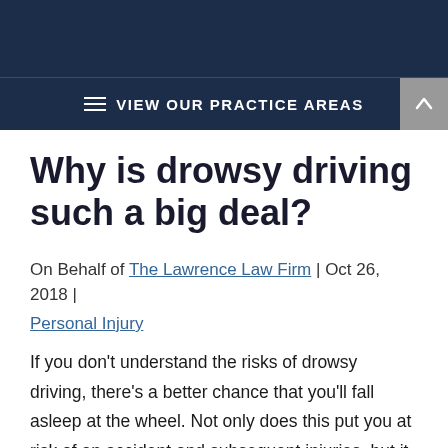VIEW OUR PRACTICE AREAS
Why is drowsy driving such a big deal?
On Behalf of The Lawrence Law Firm | Oct 26, 2018 | Personal Injury
If you don't understand the risks of drowsy driving, there's a better chance that you'll fall asleep at the wheel. Not only does this put you at risk of an accident and subsequent injuries, but it does the same to other people on the road.